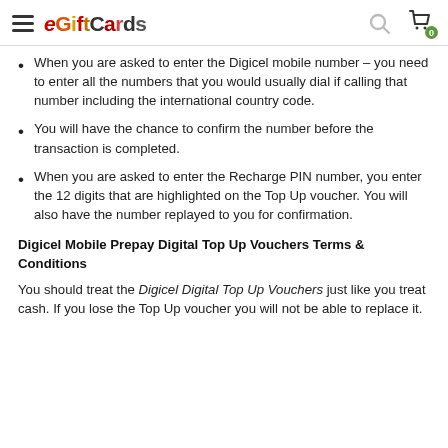eGiftCards (logo) with search and cart icons
When you are asked to enter the Digicel mobile number – you need to enter all the numbers that you would usually dial if calling that number including the international country code.
You will have the chance to confirm the number before the transaction is completed.
When you are asked to enter the Recharge PIN number, you enter the 12 digits that are highlighted on the Top Up voucher. You will also have the number replayed to you for confirmation.
Digicel Mobile Prepay Digital Top Up Vouchers Terms & Conditions
You should treat the Digicel Digital Top Up Vouchers just like you treat cash. If you lose the Top Up voucher you will not be able to replace it.